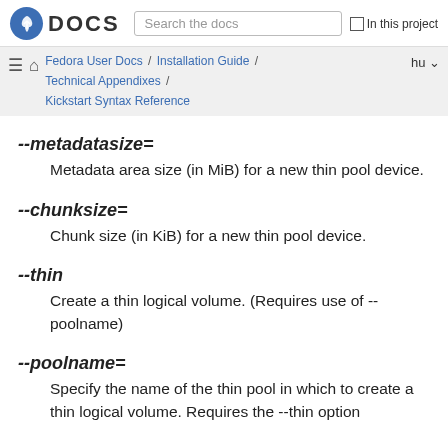Fedora DOCS — Search the docs — In this project
Fedora User Docs / Installation Guide / Technical Appendixes / Kickstart Syntax Reference — hu
--metadatasize=
Metadata area size (in MiB) for a new thin pool device.
--chunksize=
Chunk size (in KiB) for a new thin pool device.
--thin
Create a thin logical volume. (Requires use of --poolname)
--poolname=
Specify the name of the thin pool in which to create a thin logical volume. Requires the --thin option